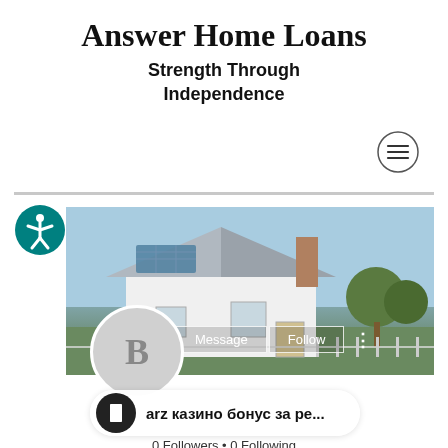Answer Home Loans
Strength Through Independence
[Figure (other): Hamburger menu icon (three horizontal lines in a circle)]
[Figure (other): Accessibility icon (person in circle with teal background)]
[Figure (photo): Photograph of a white residential house with solar panels on the roof, blue sky background, trees visible on right side. Message and Follow buttons overlaid at bottom.]
[Figure (other): Avatar circle with letter B on grey background]
[Figure (other): Phone notification bubble with phone icon and text 'arz казино бонус за ре...']
0 Followers • 0 Following